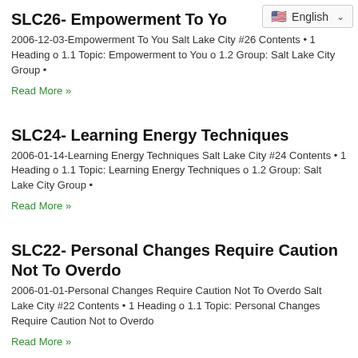SLC26- Empowerment To Yo...
2006-12-03-Empowerment To You Salt Lake City #26 Contents • 1 Heading o 1.1 Topic: Empowerment to You o 1.2 Group: Salt Lake City Group •
Read More »
SLC24- Learning Energy Techniques
2006-01-14-Learning Energy Techniques Salt Lake City #24 Contents • 1 Heading o 1.1 Topic: Learning Energy Techniques o 1.2 Group: Salt Lake City Group •
Read More »
SLC22- Personal Changes Require Caution Not To Overdo
2006-01-01-Personal Changes Require Caution Not To Overdo Salt Lake City #22 Contents • 1 Heading o 1.1 Topic: Personal Changes Require Caution Not to Overdo
Read More »